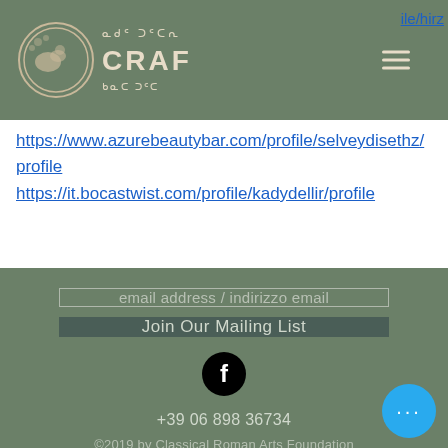CRAF
https://www.azurebeautybar.com/profile/selveydisethz/profile https://it.bocastwist.com/profile/kadydellir/profile
email address / indirizzo email
Join Our Mailing List
[Figure (logo): Facebook logo icon, black circle with white f]
+39 06 898 36734
©2019 by Classical Roman Arts Foundation